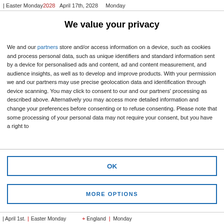Easter Monday 2028   April 17th, 2028   Monday
We value your privacy
We and our partners store and/or access information on a device, such as cookies and process personal data, such as unique identifiers and standard information sent by a device for personalised ads and content, ad and content measurement, and audience insights, as well as to develop and improve products. With your permission we and our partners may use precise geolocation data and identification through device scanning. You may click to consent to our and our partners' processing as described above. Alternatively you may access more detailed information and change your preferences before consenting or to refuse consenting. Please note that some processing of your personal data may not require your consent, but you have a right to
OK
MORE OPTIONS
April 1st.   Easter Monday   England   Monday